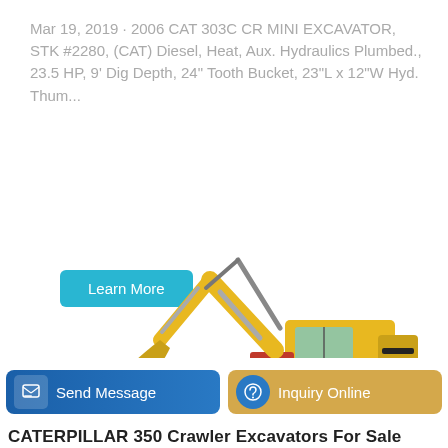Mar 19, 2019 · 2006 CAT 303C CR MINI EXCAVATOR, STK #2280, (CAT) Diesel, Heat, Aux. Hydraulics Plumbed., 23.5 HP, 9' Dig Depth, 24" Tooth Bucket, 23"L x 12"W Hyd. Thum…
Learn More
[Figure (photo): Yellow LOVOL crawler excavator on dirt/gravel ground, side view showing full boom, arm, bucket, cab, and tracks.]
Send Message
Inquiry Online
CATERPILLAR 350 Crawler Excavators For Sale